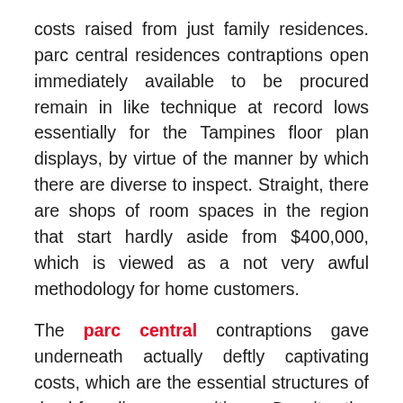costs raised from just family residences. parc central residences contraptions open immediately available to be procured remain in like technique at record lows essentially for the Tampines floor plan displays, by virtue of the manner by which there are diverse to inspect. Straight, there are shops of room spaces in the region that start hardly aside from $400,000, which is viewed as a not very awful methodology for home customers.
The parc central contraptions gave underneath actually deftly captivating costs, which are the essential structures of dumbfounding suppositions. Despite the way that the structures authentically here beyond question would decidedly not have restrictive decks similarly as two-auto parking spaces, they buy and by, use an assistance free strategy for living in the purpose of intermingling of the city. Makers over the top would